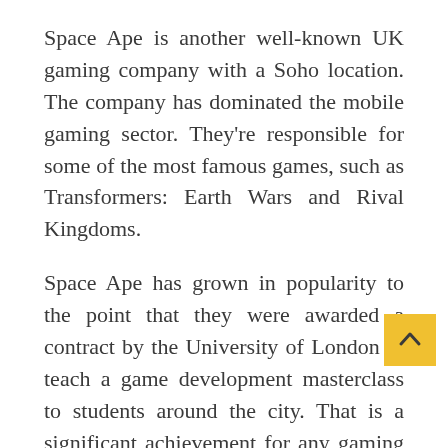Space Ape is another well-known UK gaming company with a Soho location. The company has dominated the mobile gaming sector. They're responsible for some of the most famous games, such as Transformers: Earth Wars and Rival Kingdoms.
Space Ape has grown in popularity to the point that they were awarded a contract by the University of London to teach a game development masterclass to students around the city. That is a significant achievement for any gaming company. Their competitors should keep an eye on the sector, as this company is bringing all it has.
Rockstar North